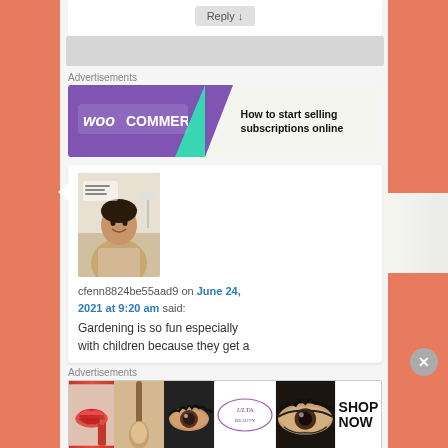[Figure (screenshot): Reply button and grey box area at the top of the page]
Advertisements
[Figure (screenshot): WooCommerce advertisement banner: How to start selling subscriptions online]
[Figure (screenshot): Comment by cfenn8824be55aad9 on June 24, 2021 at 9:20 am with avatar photo]
cfenn8824be55aad9 on June 24, 2021 at 9:20 am said:
Gardening is so fun especially with children because they get a
Advertisements
[Figure (screenshot): Ulta Beauty advertisement banner with makeup images and SHOP NOW call to action]